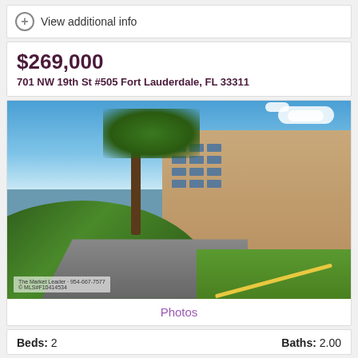View additional info
$269,000
701 NW 19th St #505 Fort Lauderdale, FL 33311
[Figure (photo): Exterior photo of a multi-story condominium building at 701 NW 19th St #505 Fort Lauderdale, FL 33311. Tan/beige building with palm trees and tropical foliage in foreground, blue sky with clouds above, parking lot driveway visible.]
Photos
Beds: 2    Baths: 2.00